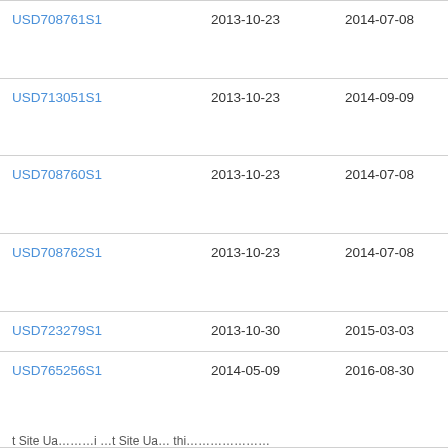| Patent Number | Filed | Published | Assignee |
| --- | --- | --- | --- |
| USD708761S1 | 2013-10-23 | 2014-07-08 | Lim Inn Inc |
| USD713051S1 | 2013-10-23 | 2014-09-09 | Lim Inn Inc |
| USD708760S1 | 2013-10-23 | 2014-07-08 | Lim Inn Inc |
| USD708762S1 | 2013-10-23 | 2014-07-08 | Lim Inn Inc |
| USD723279S1 | 2013-10-30 | 2015-03-03 | Sa... |
| USD765256S1 | 2014-05-09 | 2016-08-30 | Res Ser Tec Lim |
| AU359486S | 2014-12-01 | 2014-12-12 | Ser Pty |
...t Site Ua... ...r...i ...t Site Ua... thi...............